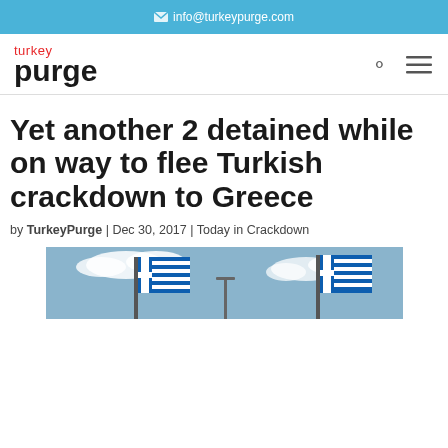info@turkeypurge.com
[Figure (logo): Turkey Purge logo — 'turkey' in red, 'purge' in bold black below]
Yet another 2 detained while on way to flee Turkish crackdown to Greece
by TurkeyPurge | Dec 30, 2017 | Today in Crackdown
[Figure (photo): Photo of Greek flags against a blue sky with clouds]